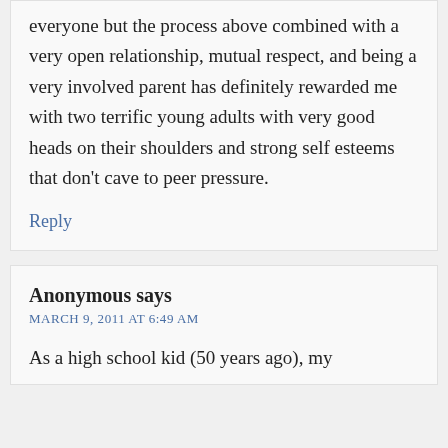everyone but the process above combined with a very open relationship, mutual respect, and being a very involved parent has definitely rewarded me with two terrific young adults with very good heads on their shoulders and strong self esteems that don’t cave to peer pressure.
Reply
Anonymous says
MARCH 9, 2011 AT 6:49 AM
As a high school kid (50 years ago), my